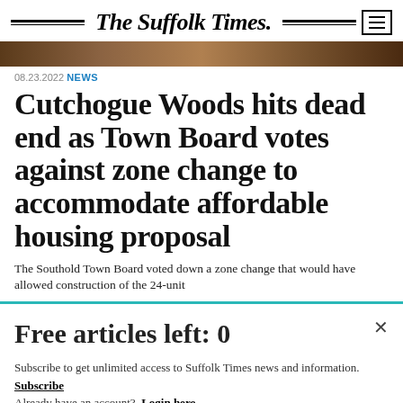The Suffolk Times.
[Figure (photo): A partial photo strip showing a natural outdoor scene, cropped at top of article]
08.23.2022 NEWS
Cutchogue Woods hits dead end as Town Board votes against zone change to accommodate affordable housing proposal
The Southold Town Board voted down a zone change that would have allowed construction of the 24-unit
Free articles left: 0
Subscribe to get unlimited access to Suffolk Times news and information.
Subscribe
Already have an account? Login here